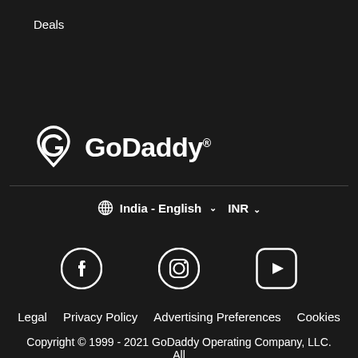Deals
[Figure (logo): GoDaddy logo with stylized G icon and GoDaddy wordmark in white on dark background]
⊕ India - English ∨  INR ∨
[Figure (illustration): Social media icons: Facebook, Instagram, YouTube in white on dark background]
Legal  Privacy Policy  Advertising Preferences  Cookies
Copyright © 1999 - 2021 GoDaddy Operating Company, LLC. All